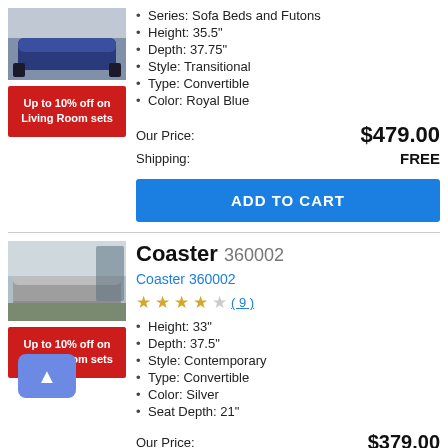[Figure (photo): Blue sofa/futon product image (top portion visible)]
[Figure (infographic): Red promotional badge: Up to 10% off on Living Room sets]
Series: Sofa Beds and Futons
Height: 35.5"
Depth: 37.75"
Style: Transitional
Type: Convertible
Color: Royal Blue
Our Price: $479.00
Shipping: FREE
ADD TO CART
[Figure (photo): Silver/gray futon sofa product image in a room setting]
[Figure (infographic): Red promotional badge: Up to 10% off on Living Room sets]
Coaster 360002
Coaster 360002
★★★★☆ (9)
Height: 33"
Depth: 37.5"
Style: Contemporary
Type: Convertible
Color: Silver
Seat Depth: 21"
Our Price: $379.00